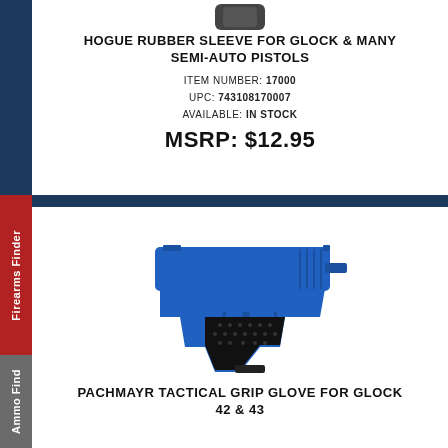[Figure (photo): Partial image of a dark rubber grip sleeve product at top]
HOGUE RUBBER SLEEVE FOR GLOCK & MANY SEMI-AUTO PISTOLS
ITEM NUMBER: 17000
UPC: 743108170007
AVAILABLE: IN STOCK
MSRP: $12.95
[Figure (photo): Blue training pistol (Glock style) with black Pachmayr tactical grip glove on the handle]
PACHMAYR TACTICAL GRIP GLOVE FOR GLOCK 42 & 43